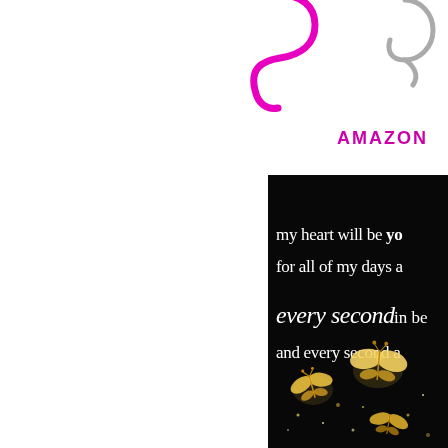[Figure (logo): Partial pink cursive letter logo in upper center, and partial gray cursive number/letter in upper right]
AMAZON
[Figure (photo): Dark black background image with white text reading 'my heart will be yo... for all of my days a... every second in bet... and every second a...' with glowing golden butterflies in the lower portion]